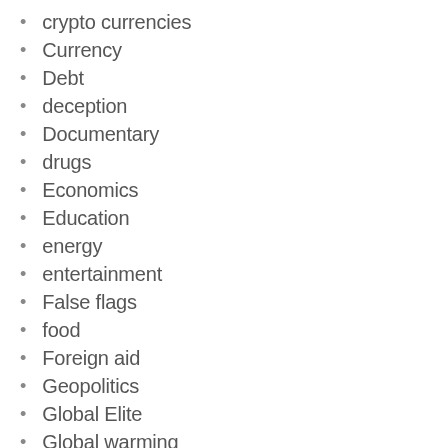crypto currencies
Currency
Debt
deception
Documentary
drugs
Economics
Education
energy
entertainment
False flags
food
Foreign aid
Geopolitics
Global Elite
Global warming